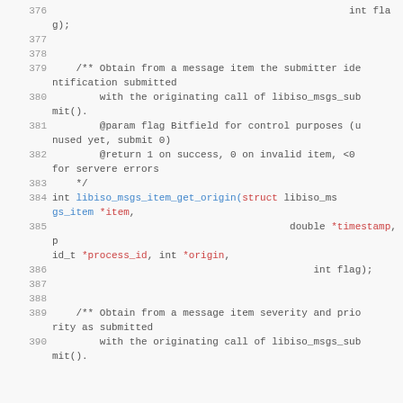Code listing lines 376-390 showing C API documentation comments and function declarations for libiso_msgs_item_get_origin
[Figure (screenshot): Source code listing with line numbers 376-390 showing C code with comment block and function declarations]